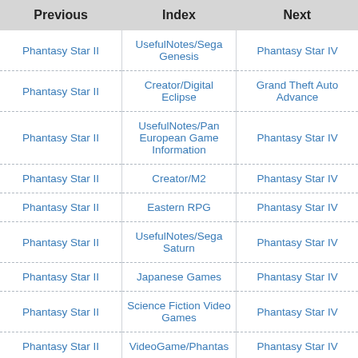| Previous | Index | Next |
| --- | --- | --- |
| Phantasy Star II | UsefulNotes/Sega Genesis | Phantasy Star IV |
| Phantasy Star II | Creator/Digital Eclipse | Grand Theft Auto Advance |
| Phantasy Star II | UsefulNotes/Pan European Game Information | Phantasy Star IV |
| Phantasy Star II | Creator/M2 | Phantasy Star IV |
| Phantasy Star II | Eastern RPG | Phantasy Star IV |
| Phantasy Star II | UsefulNotes/Sega Saturn | Phantasy Star IV |
| Phantasy Star II | Japanese Games | Phantasy Star IV |
| Phantasy Star II | Science Fiction Video Games | Phantasy Star IV |
| Phantasy Star II | VideoGame/Phantas | Phantasy Star IV |